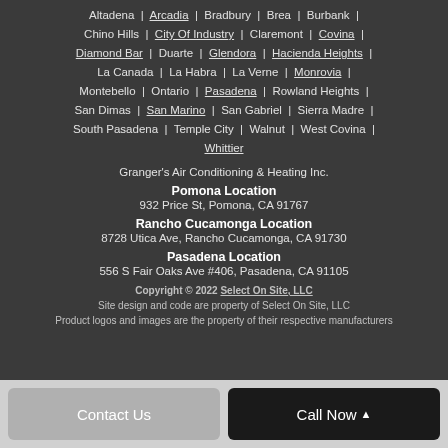Altadena | Arcadia | Bradbury | Brea | Burbank | Chino Hills | City Of Industry | Claremont | Covina | Diamond Bar | Duarte | Glendora | Hacienda Heights | La Canada | La Habra | La Verne | Monrovia | Montebello | Ontario | Pasadena | Rowland Heights | San Dimas | San Marino | San Gabriel | Sierra Madre | South Pasadena | Temple City | Walnut | West Covina | Whittier
Granger's Air Conditioning & Heating Inc.
Pomona Location
932 Price St, Pomona, CA 91767
Rancho Cucamonga Location
8728 Utica Ave, Rancho Cucamonga, CA 91730
Pasadena Location
556 S Fair Oaks Ave #406, Pasadena, CA 91105
Copyright © 2022 Select On Site, LLC
Site design and code are property of Select On Site, LLC
Product logos and images are the property of their respective manufacturers